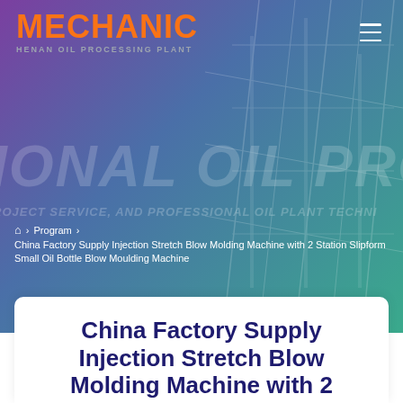[Figure (screenshot): Hero banner with purple-teal gradient background showing an industrial oil processing plant structure in the background]
MECHANIC – HENAN OIL PROCESSING PLANT
IONAL OIL PROCESSING
ROJECT SERVICE, AND PROFESSIONAL OIL PLANT TECHNI
⌂ › Program › China Factory Supply Injection Stretch Blow Molding Machine with 2 Station Slipform Small Oil Bottle Blow Moulding Machine
China Factory Supply Injection Stretch Blow Molding Machine with 2 Station Slipform Small